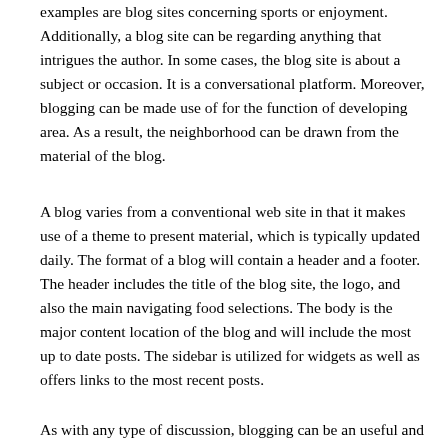examples are blog sites concerning sports or enjoyment. Additionally, a blog site can be regarding anything that intrigues the author. In some cases, the blog site is about a subject or occasion. It is a conversational platform. Moreover, blogging can be made use of for the function of developing area. As a result, the neighborhood can be drawn from the material of the blog.
A blog varies from a conventional web site in that it makes use of a theme to present material, which is typically updated daily. The format of a blog will contain a header and a footer. The header includes the title of the blog site, the logo, and also the main navigating food selections. The body is the major content location of the blog and will include the most up to date posts. The sidebar is utilized for widgets as well as offers links to the most recent posts.
As with any type of discussion, blogging can be an useful and also reliable medium. It can be utilized for